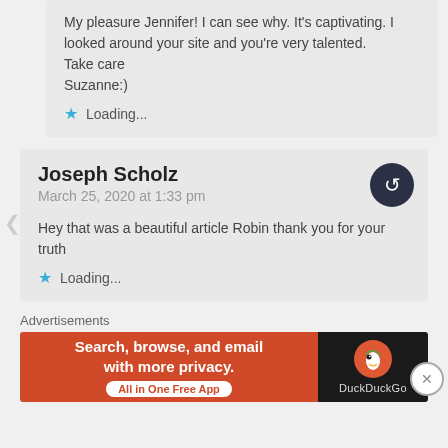My pleasure Jennifer! I can see why. It's captivating. I looked around your site and you're very talented.
Take care
Suzanne:)
★ Loading...
Joseph Scholz
March 25, 2020 at 1:33 pm
Hey that was a beautiful article Robin thank you for your truth
★ Loading...
[Figure (infographic): DuckDuckGo advertisement banner: 'Search, browse, and email with more privacy. All in One Free App' with DuckDuckGo logo on dark background]